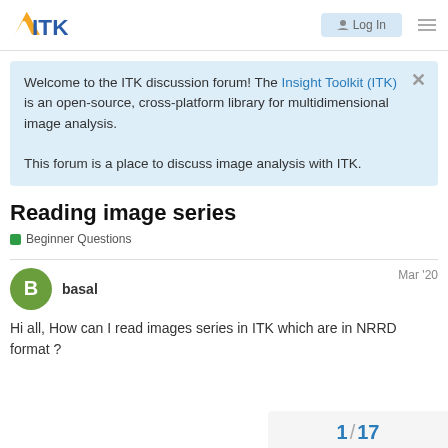ITK Discussion Forum — Log In
Welcome to the ITK discussion forum! The Insight Toolkit (ITK) is an open-source, cross-platform library for multidimensional image analysis.

This forum is a place to discuss image analysis with ITK.
Reading image series
Beginner Questions
basal   Mar '20
Hi all, How can I read images series in ITK which are in NRRD format ?
1 / 17